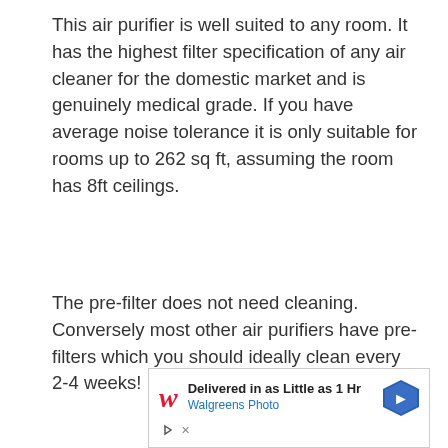This air purifier is well suited to any room. It has the highest filter specification of any air cleaner for the domestic market and is genuinely medical grade. If you have average noise tolerance it is only suitable for rooms up to 262 sq ft, assuming the room has 8ft ceilings.
The pre-filter does not need cleaning. Conversely most other air purifiers have pre-filters which you should ideally clean every 2-4 weeks!
[Figure (other): Advertisement banner for Walgreens Photo showing 'Delivered in as Little as 1 Hr' with Walgreens logo and a blue navigation arrow icon]